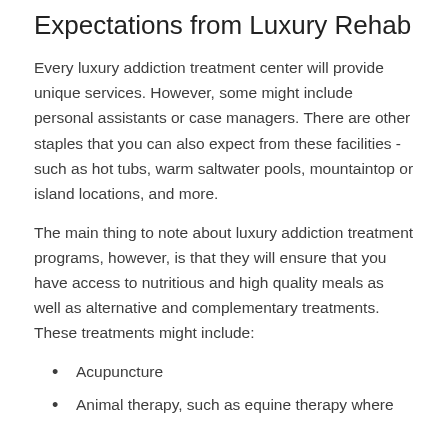Expectations from Luxury Rehab
Every luxury addiction treatment center will provide unique services. However, some might include personal assistants or case managers. There are other staples that you can also expect from these facilities - such as hot tubs, warm saltwater pools, mountaintop or island locations, and more.
The main thing to note about luxury addiction treatment programs, however, is that they will ensure that you have access to nutritious and high quality meals as well as alternative and complementary treatments. These treatments might include:
Acupuncture
Animal therapy, such as equine therapy where